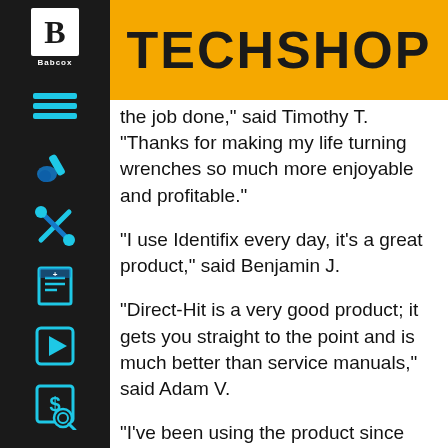TECHSHOP
the job done,” said Timothy T. “Thanks for making my life turning wrenches so much more enjoyable and profitable.”
“I use Identifix every day, it’s a great product,” said Benjamin J.
“Direct-Hit is a very good product; it gets you straight to the point and is much better than service manuals,” said Adam V.
“I’ve been using the product since 2006, and recommend Identifix to a lot of other shops,” said Isalias M.
With Identifix celebrating 30,000 subscribers in 2011 and 50,000 subscribers in 2015, Direct-Hit’s